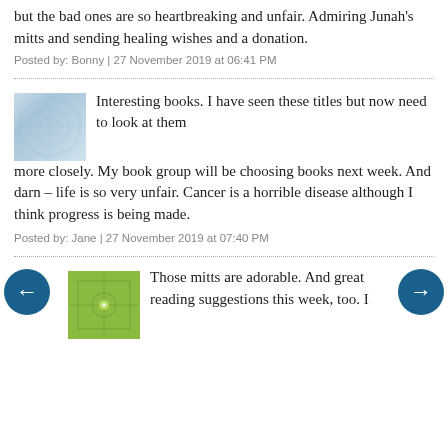but the bad ones are so heartbreaking and unfair. Admiring Junah's mitts and sending healing wishes and a donation.
Posted by: Bonny | 27 November 2019 at 06:41 PM
Interesting books. I have seen these titles but now need to look at them more closely. My book group will be choosing books next week. And darn – life is so very unfair. Cancer is a horrible disease although I think progress is being made.
Posted by: Jane | 27 November 2019 at 07:40 PM
Those mitts are adorable. And great reading suggestions this week, too. I